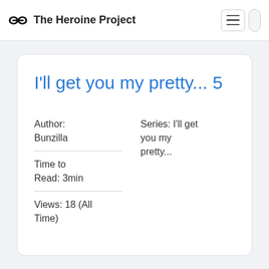The Heroine Project
I'll get you my pretty... 5
Author: Bunzilla
Time to Read: 3min
Views: 18 (All Time)
Series: I'll get you my pretty...